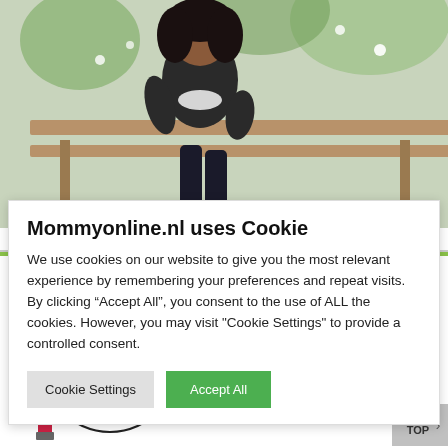[Figure (photo): Woman with curly hair sitting on a bench outdoors, wearing a dark jacket, with greenery and flowers in the background]
Mommyonline.nl uses Cookie
We use cookies on our website to give you the most relevant experience by remembering your preferences and repeat visits. By clicking “Accept All”, you consent to the use of ALL the cookies. However, you may visit "Cookie Settings" to provide a controlled consent.
[Figure (screenshot): Cookie Settings and Accept All buttons]
[Figure (illustration): Miss Gorgeous advertisement banner — Online beautyshop voor de vrouw van nu! www.missgorgeous.nl with stylized woman face illustration]